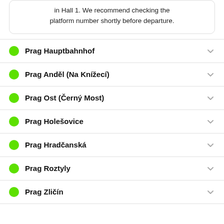in Hall 1. We recommend checking the platform number shortly before departure.
Prag Hauptbahnhof
Prag Anděl (Na Knížecí)
Prag Ost (Černý Most)
Prag Holešovice
Prag Hradčanská
Prag Roztyly
Prag Zličín